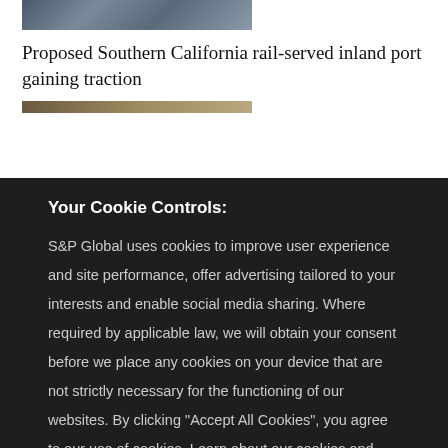[Figure (photo): Aerial photo of rail yard / industrial port infrastructure]
Proposed Southern California rail-served inland port gaining traction
[Figure (photo): Partial aerial image strip of transportation infrastructure]
Your Cookie Controls:
S&P Global uses cookies to improve user experience and site performance, offer advertising tailored to your interests and enable social media sharing. Where required by applicable law, we will obtain your consent before we place any cookies on your device that are not strictly necessary for the functioning of our websites. By clicking "Accept All Cookies", you agree to our use of cookies. Learn about our cookies and how to modify your preferences in our Cookie Notice. Visit our updated